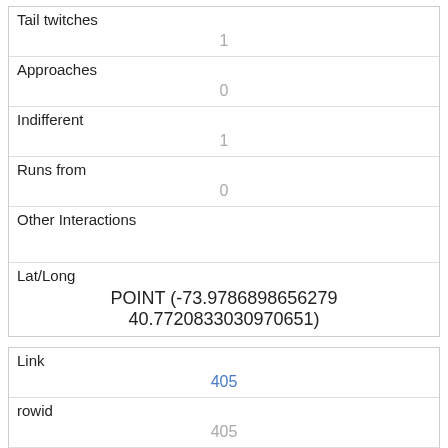| Tail twitches | 1 |
| Approaches | 0 |
| Indifferent | 1 |
| Runs from | 0 |
| Other Interactions |  |
| Lat/Long | POINT (-73.9786898656279 40.7720833030970651) |
| Link | 405 |
| rowid | 405 |
| longitude | -73.97866031471492 |
| latitude | 40.76719037837017 |